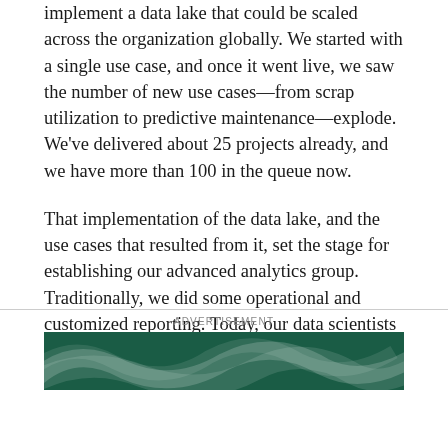implement a data lake that could be scaled across the organization globally. We started with a single use case, and once it went live, we saw the number of new use cases—from scrap utilization to predictive maintenance—explode. We've delivered about 25 projects already, and we have more than 100 in the queue now.
That implementation of the data lake, and the use cases that resulted from it, set the stage for establishing our advanced analytics group. Traditionally, we did some operational and customized reporting. Today, our data scientists and engineers are cranking out machine learning and IT models.
ADVERTISEMENT
[Figure (illustration): Dark green advertisement banner with white curved wave/swoosh lines in the lower left area]